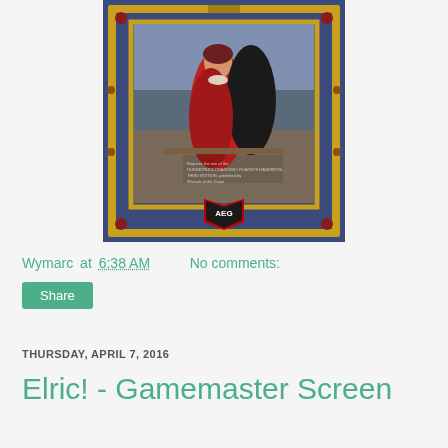[Figure (photo): Book cover of a tabletop RPG product showing a woman in a red dress standing on a balcony overlooking a fantasy city, with a gold ornate frame on a blue background and AEG logo at the bottom.]
Wymarc at 6:38 AM    No comments:
Share
THURSDAY, APRIL 7, 2016
Elric! - Gamemaster Screen